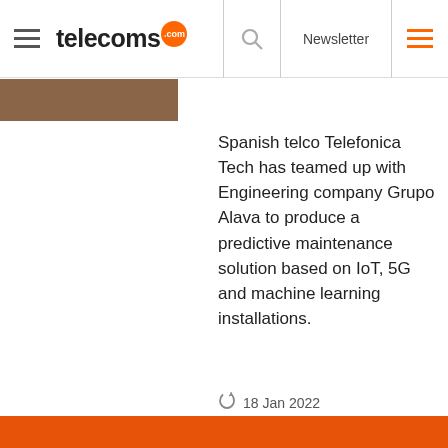telecoms.com | Newsletter
[Figure (photo): Thumbnail image strip at top left below header]
Spanish telco Telefonica Tech has teamed up with Engineering company Grupo Alava to produce a predictive maintenance solution based on IoT, 5G and machine learning installations.
18 Jan 2022
This website uses cookies, including third party ones, to allow for analysis of how people use our website in order to improve your experience and our services. By continuing to use our website, you agree to the use of such cookies. Click here for more information on our Cookie Policy and Privacy Policy.